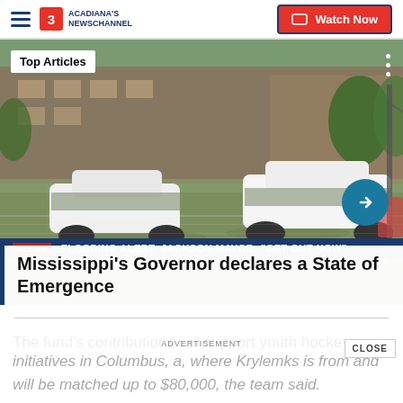ACADIANA'S NEWSCHANNEL | Watch Now
[Figure (photo): Flooded parking lot with cars submerged in muddy water, residential buildings in background. Breaking news banner reads: FLOODING ALERT: JACKSON MAYOR: 'GET OUT NOW']
Mississippi's Governor declares a State of Emergence
The fund's contributions will support youth hockey initiatives in Columbus, a, where Krylemks is from and will be matched up to $80,000, the team said.